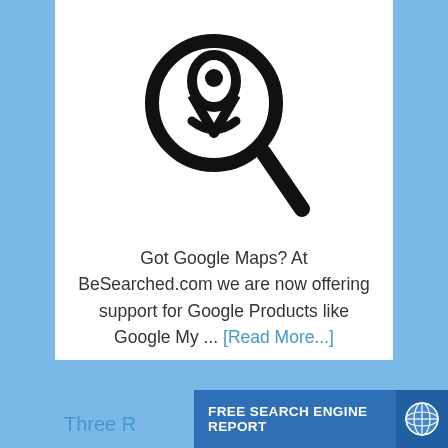[Figure (illustration): A magnifying glass icon with a map location pin/person silhouette inside the lens, black line art on white background]
Got Google Maps? At BeSearched.com we are now offering support for Google Products like Google My ... [Read More...]
Latest SEO Information
Three R
FREE SEARCH ENGINE REPORT